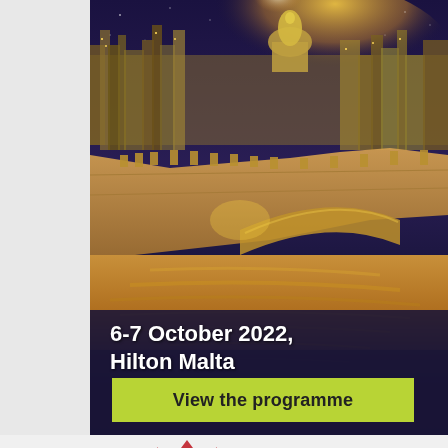[Figure (photo): Night aerial photograph of Malta city (Valletta) showing illuminated historic fortifications, limestone walls, domed church buildings, and a harbor with golden light reflections on the water.]
6-7 October 2022, Hilton Malta
View the programme
[Figure (logo): Red crown/crest logo at the bottom of the page]